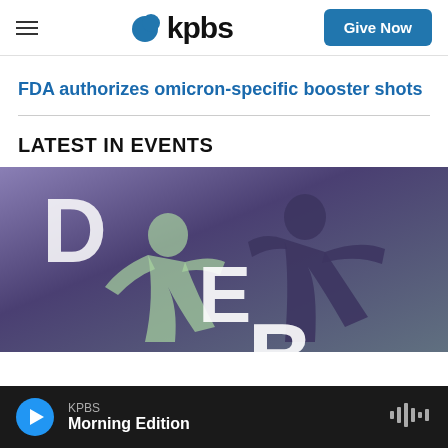kpbs
FDA authorizes omicron-specific booster shots
LATEST IN EVENTS
[Figure (photo): Two dancers performing with large illuminated letters D, E, B visible in the background, purple/grey toned image]
KPBS Morning Edition